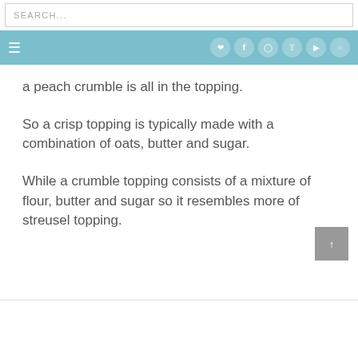SEARCH...
a peach crumble is all in the topping.
So a crisp topping is typically made with a combination of oats, butter and sugar.
While a crumble topping consists of a mixture of flour, butter and sugar so it resembles more of streusel topping.